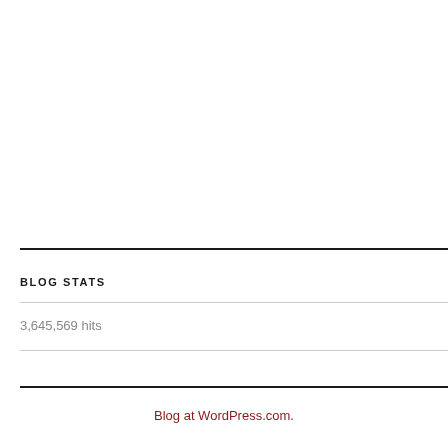BLOG STATS
3,645,569 hits
Blog at WordPress.com.